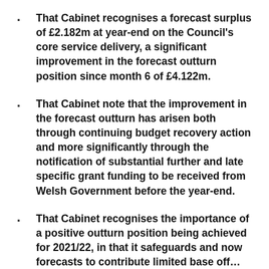That Cabinet recognises a forecast surplus of £2.182m at year-end on the Council's core service delivery, a significant improvement in the forecast outturn position since month 6 of £4.122m.
That Cabinet note that the improvement in the forecast outturn has arisen both through continuing budget recovery action and more significantly through the notification of substantial further and late specific grant funding to be received from Welsh Government before the year-end.
That Cabinet recognises the importance of a positive outturn position being achieved for 2021/22, in that it safeguards and now forecasts to contribute limited base off…